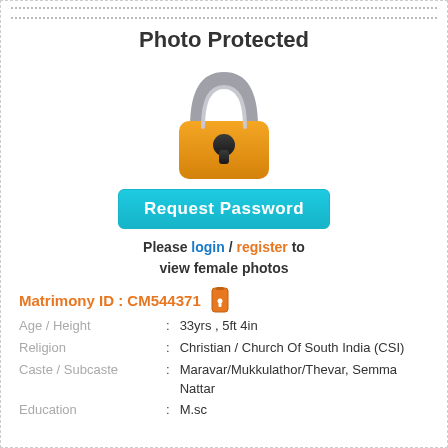Photo Protected
[Figure (illustration): A padlock icon with orange body and grey shackle, representing photo protection.]
Request Password
Please login / register to view female photos
Matrimony ID : CM544371
| Field | : | Value |
| --- | --- | --- |
| Age / Height | : | 33yrs , 5ft 4in |
| Religion | : | Christian / Church Of South India (CSI) |
| Caste / Subcaste | : | Maravar/Mukkulathor/Thevar, Semma Nattar |
| Education | : | M.sc |